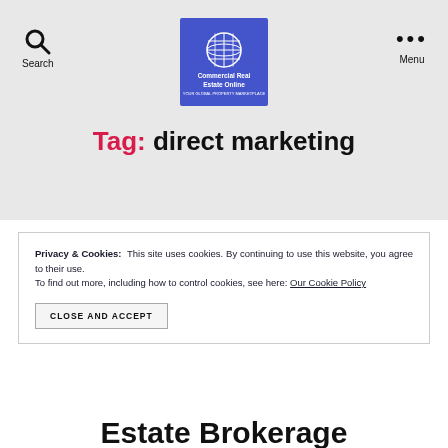Search | Commercial Real Estate Online | Menu
Tag: direct marketing
Privacy & Cookies: This site uses cookies. By continuing to use this website, you agree to their use. To find out more, including how to control cookies, see here: Our Cookie Policy
CLOSE AND ACCEPT
Estate Brokerage